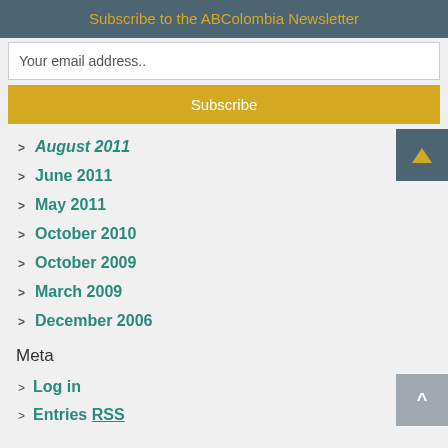Subscribe to the ABColombia Newsletter
Your email address..
Subscribe
August 2011
June 2011
May 2011
October 2010
October 2009
March 2009
December 2006
Meta
Log in
Entries RSS